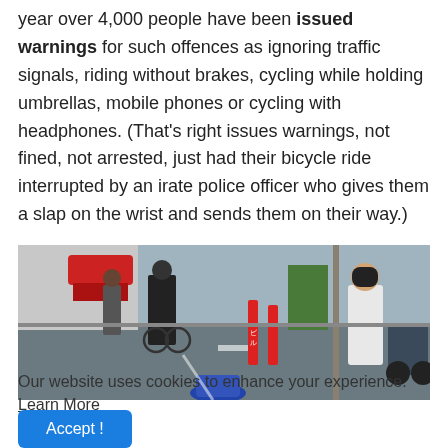year over 4,000 people have been issued warnings for such offences as ignoring traffic signals, riding without brakes, cycling while holding umbrellas, mobile phones or cycling with headphones. (That's right issues warnings, not fined, not arrested, just had their bicycle ride interrupted by an irate police officer who gives them a slap on the wrist and sends them on their way.)
[Figure (photo): Street scene showing cyclists and pedestrians on a road, with a person on a bicycle and a woman in a white shirt visible, alongside red bollards and urban street elements in what appears to be a Japanese city.]
Our website uses cookies to enhance your experience. Learn More
Accept !